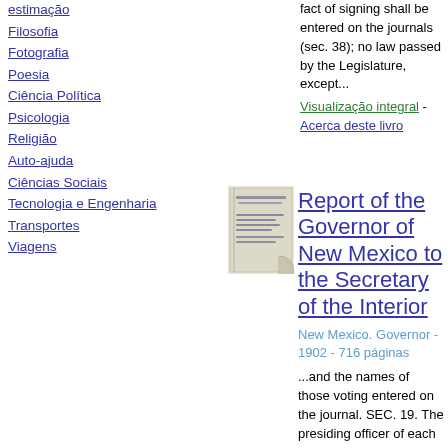estimação
Filosofia
Fotografia
Poesia
Ciência Política
Psicologia
Religião
Auto-ajuda
Ciências Sociais
Tecnologia e Engenharia
Transportes
Viagens
fact of signing shall be entered on the journals (sec. 38); no law passed by the Legislature, except...
Visualização integral - Acerca deste livro
[Figure (illustration): Thumbnail image of book cover for Report of the Governor of New Mexico to the Secretary of the Interior]
Report of the Governor of New Mexico to the Secretary of the Interior
New Mexico. Governor - 1902 - 716 páginas
...and the names of those voting entered on the journal. SEC. 19. The presiding officer of each nouse shall, in the presence of